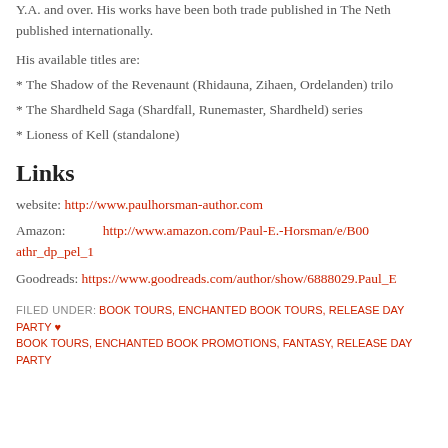Y.A. and over. His works have been both trade published in The Neth published internationally.
His available titles are:
* The Shadow of the Revenaunt (Rhidauna, Zihaen, Ordelanden) trilo
* The Shardheld Saga (Shardfall, Runemaster, Shardheld) series
* Lioness of Kell (standalone)
Links
website: http://www.paulhorsman-author.com
Amazon: http://www.amazon.com/Paul-E.-Horsman/e/B00 athr_dp_pel_1
Goodreads: https://www.goodreads.com/author/show/6888029.Paul_E
FILED UNDER: BOOK TOURS, ENCHANTED BOOK TOURS, RELEASE DAY PARTY • BOOK TOURS, ENCHANTED BOOK PROMOTIONS, FANTASY, RELEASE DAY PARTY